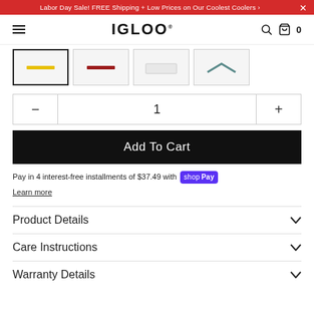Labor Day Sale! FREE Shipping + Low Prices on Our Coolest Coolers ›
[Figure (logo): IGLOO logo in bold black text with registered trademark symbol]
[Figure (screenshot): Four product thumbnail images showing cooler color variants: yellow stripe, red stripe, plain white, grey chevron]
1
Add To Cart
Pay in 4 interest-free installments of $37.49 with shop Pay
Learn more
Product Details
Care Instructions
Warranty Details